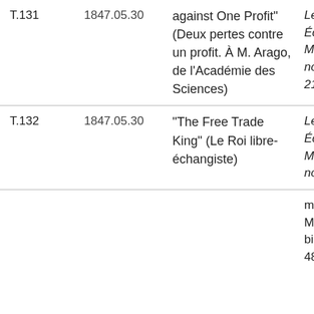| ID | Date | Title | Source |
| --- | --- | --- | --- |
| T.131 | 1847.05.30 | against One Profit" (Deux pertes contre un profit. À M. Arago, de l'Académie des Sciences) | Le Libre-Échange May 184 no. 27, p. 215-16 |
| T.132 | 1847.05.30 | "The Free Trade King" (Le Roi libre-échangiste) | Le Libre-Échange May 184 no. 27, p. |
|  |  |  | mention Maynoo bill (fn. 48) |